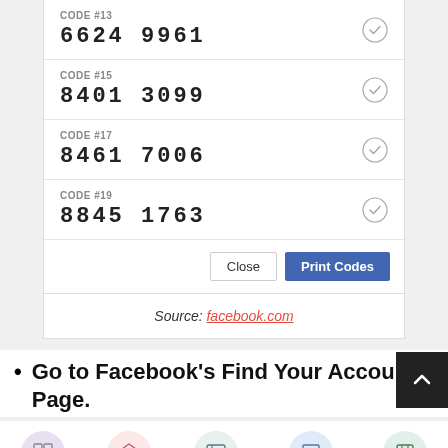| Code | Number | Status |
| --- | --- | --- |
| CODE #13 | 6624 9961 | ✓ |
| CODE #15 | 8401 3099 | ✓ |
| CODE #17 | 8461 7006 | ✓ |
| CODE #19 | 8845 1763 | ✓ |
Close | Print Codes
Source: facebook.com
Go to Facebook's Find Your Account Page.
Tools | Agencies | Platforms | Benchmarks | Login